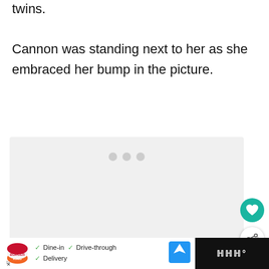twins.
Cannon was standing next to her as she embraced her bump in the picture.
[Figure (photo): Image placeholder with three grey dots indicating loading content]
Ad banner: Burger King — Dine-in, Drive-through, Delivery